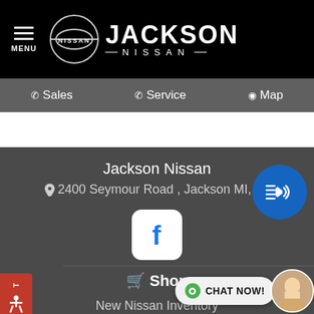MENU | NISSAN | JACKSON NISSAN
Sales  Service  Map
Jackson Nissan
2400 Seymour Road , Jackson MI, 49
[Figure (logo): Facebook logo icon (white f on white rounded square)]
[Figure (logo): Audio/accessibility speaker button (blue circle with speaker and sound waves)]
Shop
New Nissan Inventory
Used Nissan Inventory
All Used Inventory
Pre-Owned Certified
Specials
Lease Specia…
[Figure (photo): Chat now button with agent avatar photo and green dot indicator]
[Figure (logo): Accessibility tab on left side with wheelchair icon and TEXT / US labels]